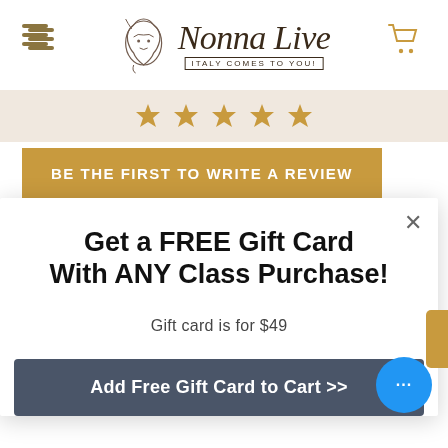[Figure (logo): NonnaLive logo with illustrated woman face and italic script text, tagline ITALY COMES TO YOU]
[Figure (infographic): Five gold star rating icons in a row on beige background]
BE THE FIRST TO WRITE A REVIEW
Get a FREE Gift Card With ANY Class Purchase!
Gift card is for $49
Add Free Gift Card to Cart >>